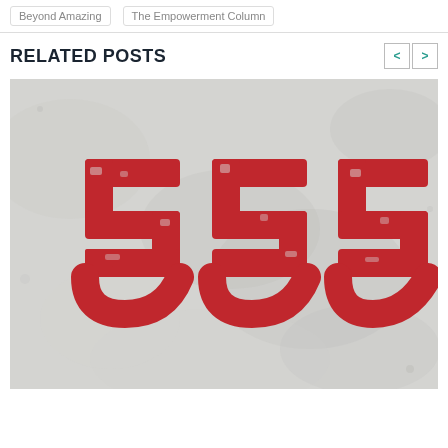Beyond Amazing   The Empowerment Column
RELATED POSTS
[Figure (photo): Photo of red stencilled numbers '555' on a concrete/stone grey textured surface]